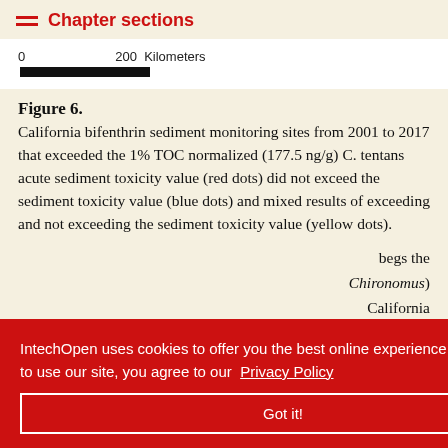Chapter sections
[Figure (other): Scale bar showing 0 to 200 Kilometers]
Figure 6. California bifenthrin sediment monitoring sites from 2001 to 2017 that exceeded the 1% TOC normalized (177.5 ng/g) C. tentans acute sediment toxicity value (red dots) did not exceed the sediment toxicity value (blue dots) and mixed results of exceeding and not exceeding the sediment toxicity value (yellow dots).
begs the Chironomus) California more sensitive ut the case could certainly be made that Chironomus, which is a
IntechOpen uses cookies to offer you the best online experience. By continuing to use our site, you agree to our Privacy Policy Got it!